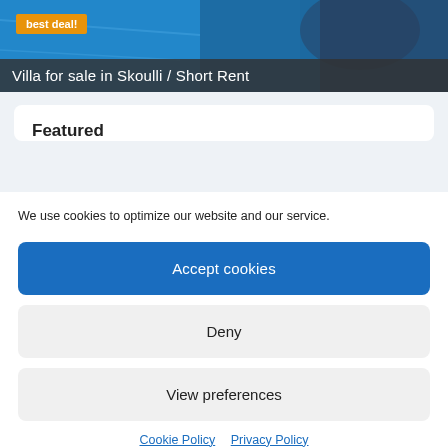[Figure (photo): Hero image showing a pool area with blue water, towels and items on the edge, partially visible]
best deal!
Villa for sale in Skoulli / Short Rent
Featured
We use cookies to optimize our website and our service.
Accept cookies
Deny
View preferences
Cookie Policy  Privacy Policy